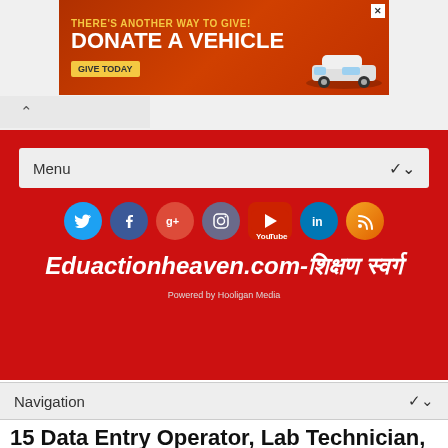[Figure (screenshot): Advertisement banner: THERE'S ANOTHER WAY TO GIVE! DONATE A VEHICLE GIVE TODAY with car image]
Menu ∨
[Figure (infographic): Social media icons row: Twitter, Facebook, Google+, Instagram, YouTube, LinkedIn, RSS]
Eduactionheaven.com-शिक्षण स्वर्ग
Powered by Hooligan Media
Navigation ∨
15 Data Entry Operator, Lab Technician, Helper posts - Water and Power Consultancy Services Job Recruitment 2019 Apply Offline.